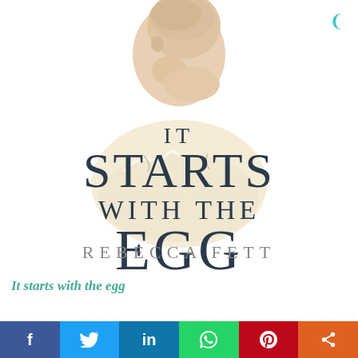[Figure (illustration): Book cover for 'It Starts with the Egg' by Rebecca Fett. A baby emerging from a cracked egg shell on a white background. Top right has a teal loading/crescent icon. Large serif title text reads IT STARTS WITH THE EGG in dark navy. Author name REBECCA FETT in gray spaced letters below.]
It starts with the egg
[Figure (infographic): Social media sharing bar with icons: Facebook (blue, f), Twitter (light blue, bird), LinkedIn (blue, in), WhatsApp (green, phone), Pinterest (red, P), Share (orange, <)]